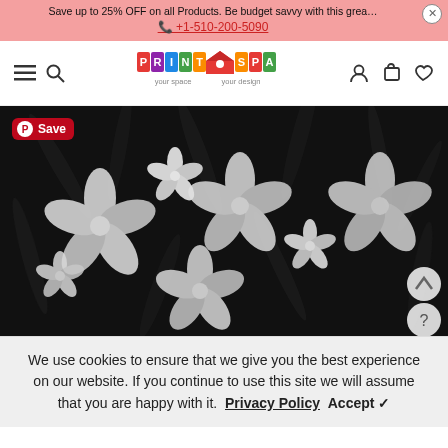Save up to 25% OFF on all Products. Be budget savvy with this great deal!
+1-510-200-5090
[Figure (logo): PrintSpace logo with colorful house icon and text 'your space your design']
[Figure (photo): Dark background tropical floral pattern with white hibiscus flowers, plumeria, and palm leaves in black and white]
We use cookies to ensure that we give you the best experience on our website. If you continue to use this site we will assume that you are happy with it. Privacy Policy  Accept ✓